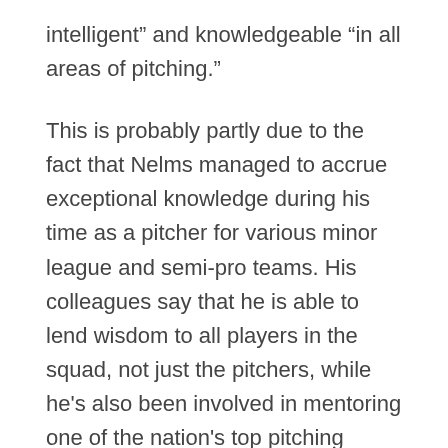intelligent” and knowledgeable “in all areas of pitching.”
This is probably partly due to the fact that Nelms managed to accrue exceptional knowledge during his time as a pitcher for various minor league and semi-pro teams. His colleagues say that he is able to lend wisdom to all players in the squad, not just the pitchers, while he's also been involved in mentoring one of the nation's top pitching staffs over the last half decade.
Nelms joined the Thunder in 2012 following two years as the pitching coach for the Rangers. Since then, the team has managed to maintain an impressive 2.64 ERA, with their 2014 and 2015